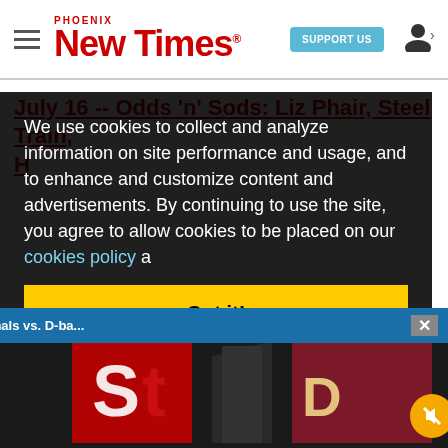Phoenix New Times | SUPPORT US
July 16 -- Odds 'n' Sods: Liz Phair, Steel Train,
We use cookies to collect and analyze information on site performance and usage, and to enhance and customize content and advertisements. By continuing to use the site, you agree to allow cookies to be placed on our cookies policy a
Sponsored Content - Cardinals vs. D-ba...
Got it!
rst
Hall of Dore